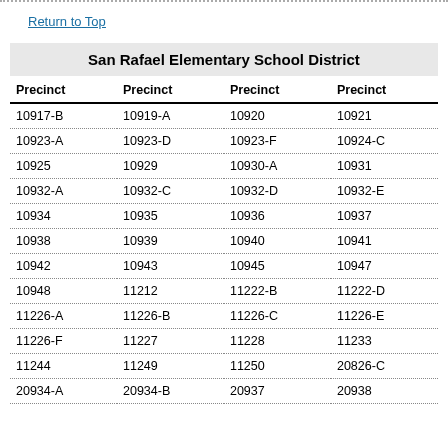Return to Top
| Precinct | Precinct | Precinct | Precinct |
| --- | --- | --- | --- |
| 10917-B | 10919-A | 10920 | 10921 |
| 10923-A | 10923-D | 10923-F | 10924-C |
| 10925 | 10929 | 10930-A | 10931 |
| 10932-A | 10932-C | 10932-D | 10932-E |
| 10934 | 10935 | 10936 | 10937 |
| 10938 | 10939 | 10940 | 10941 |
| 10942 | 10943 | 10945 | 10947 |
| 10948 | 11212 | 11222-B | 11222-D |
| 11226-A | 11226-B | 11226-C | 11226-E |
| 11226-F | 11227 | 11228 | 11233 |
| 11244 | 11249 | 11250 | 20826-C |
| 20934-A | 20934-B | 20937 | 20938 |